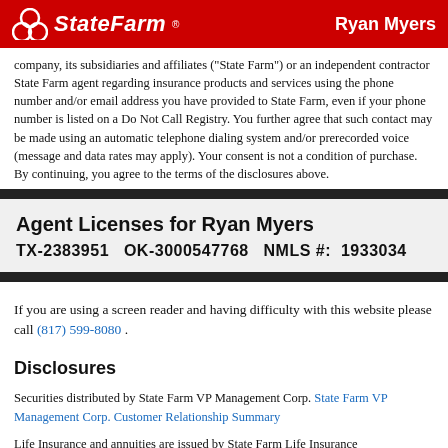State Farm | Ryan Myers
company, its subsidiaries and affiliates ("State Farm") or an independent contractor State Farm agent regarding insurance products and services using the phone number and/or email address you have provided to State Farm, even if your phone number is listed on a Do Not Call Registry. You further agree that such contact may be made using an automatic telephone dialing system and/or prerecorded voice (message and data rates may apply). Your consent is not a condition of purchase. By continuing, you agree to the terms of the disclosures above.
Agent Licenses for Ryan Myers
TX-2383951   OK-3000547768   NMLS #:   1933034
If you are using a screen reader and having difficulty with this website please call (817) 599-8080 .
Disclosures
Securities distributed by State Farm VP Management Corp. State Farm VP Management Corp. Customer Relationship Summary
Life Insurance and annuities are issued by State Farm Life Insurance